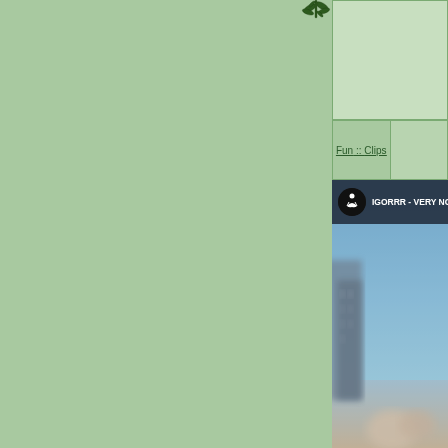Fun :: Clips
[Figure (screenshot): Video player screenshot showing 'IGORRR - VERY NOISE' with a circular channel icon and a blurred outdoor/cityscape scene with blue sky and figures in the foreground]